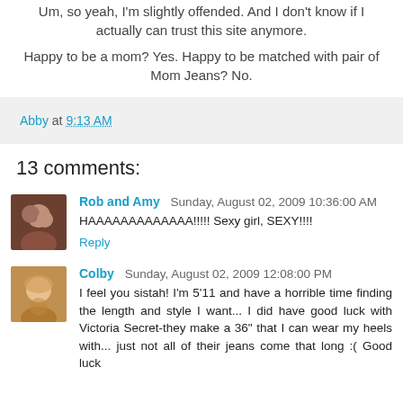Um, so yeah, I'm slightly offended. And I don't know if I actually can trust this site anymore.
Happy to be a mom? Yes. Happy to be matched with pair of Mom Jeans? No.
Abby at 9:13 AM
13 comments:
Rob and Amy  Sunday, August 02, 2009 10:36:00 AM
HAAAAAAAAAAAAA!!!!! Sexy girl, SEXY!!!!
Reply
Colby  Sunday, August 02, 2009 12:08:00 PM
I feel you sistah! I'm 5'11 and have a horrible time finding the length and style I want... I did have good luck with Victoria Secret-they make a 36" that I can wear my heels with... just not all of their jeans come that long :( Good luck